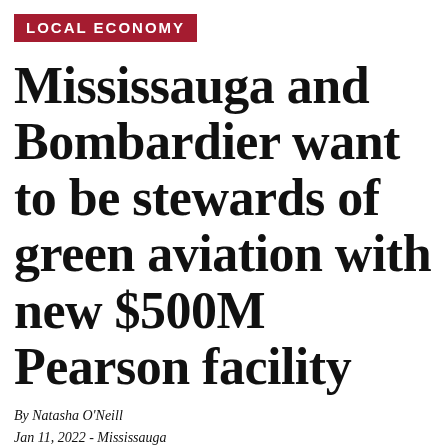LOCAL ECONOMY
Mississauga and Bombardier want to be stewards of green aviation with new $500M Pearson facility
By Natasha O'Neill
Jan 11, 2022 - Mississauga